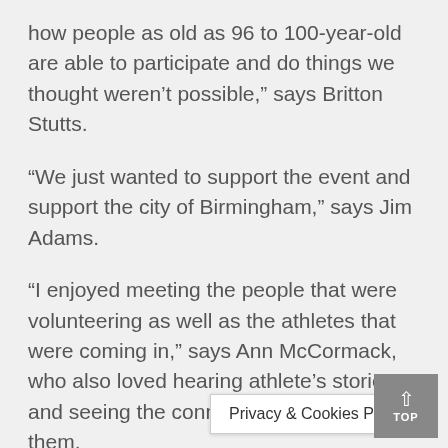how people as old as 96 to 100-year-old are able to participate and do things we thought weren’t possible,” says Britton Stutts.
“We just wanted to support the event and support the city of Birmingham,” says Jim Adams.
“I enjoyed meeting the people that were volunteering as well as the athletes that were coming in,” says Ann McCormack, who also loved hearing athlete’s stories and seeing the connections between them.
The National Senio… is
Privacy & Cookies Policy